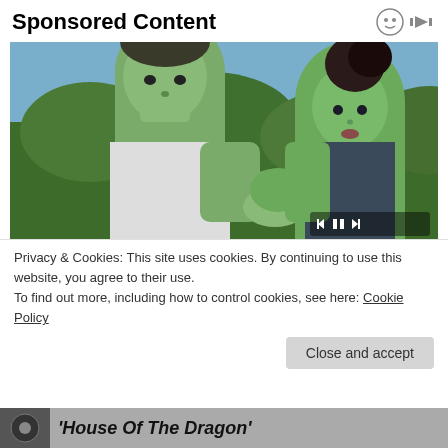Sponsored Content
[Figure (screenshot): Screenshot of a webpage showing a sponsored content section with a video player featuring two green-skinned Marvel characters (Hulk and She-Hulk) facing each other with hands pressed together, in a jungle setting. Video player controls are visible at bottom right.]
Privacy & Cookies: This site uses cookies. By continuing to use this website, you agree to their use.
To find out more, including how to control cookies, see here: Cookie Policy
Close and accept
'House Of The Dragon'